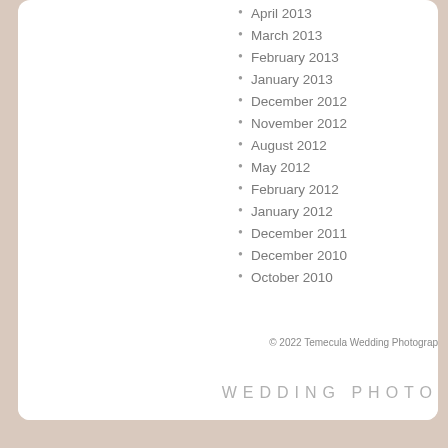April 2013
March 2013
February 2013
January 2013
December 2012
November 2012
August 2012
May 2012
February 2012
January 2012
December 2011
December 2010
October 2010
© 2022 Temecula Wedding Photography
WEDDING PHOTO